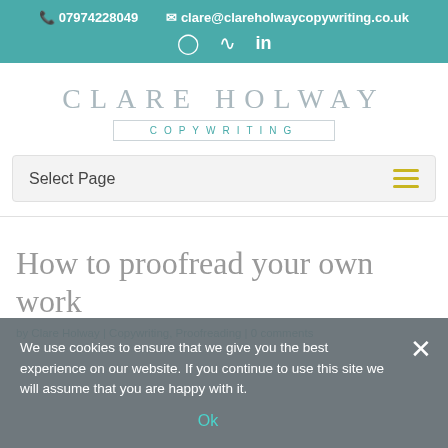07974228049   clare@clareholwaycopywriting.co.uk
[Figure (logo): Clare Holway Copywriting logo with name in large spaced serif letters and 'COPYWRITING' in teal below in a bordered box]
Select Page
How to proofread your own work
by Clare Holway | Copywriting, Proofreading | 0 comments
We use cookies to ensure that we give you the best experience on our website. If you continue to use this site we will assume that you are happy with it.
Ok